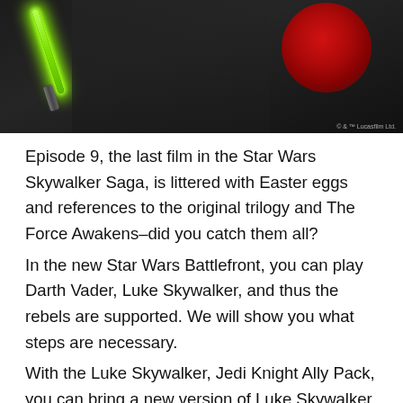[Figure (photo): A figure holding a green lightsaber on the left side, with a red circular emblem on the right, against a dark background. Copyright © & TM Lucasfilm Ltd.]
Episode 9, the last film in the Star Wars Skywalker Saga, is littered with Easter eggs and references to the original trilogy and The Force Awakens–did you catch them all?
In the new Star Wars Battlefront, you can play Darth Vader, Luke Skywalker, and thus the rebels are supported. We will show you what steps are necessary.
With the Luke Skywalker, Jedi Knight Ally Pack, you can bring a new version of Luke Skywalker into your Imperial Assault campaigns and skirmishes, but it also has the ability of being able...